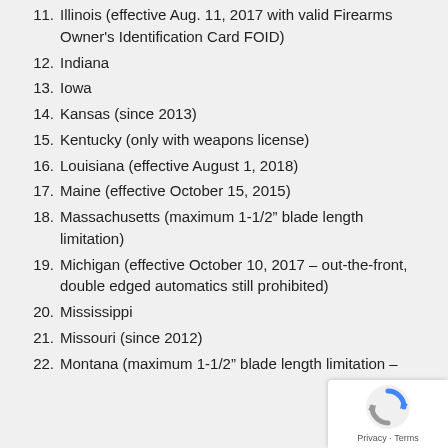11. Illinois (effective Aug. 11, 2017 with valid Firearms Owner's Identification Card FOID)
12. Indiana
13. Iowa
14. Kansas (since 2013)
15. Kentucky (only with weapons license)
16. Louisiana (effective August 1, 2018)
17. Maine (effective October 15, 2015)
18. Massachusetts (maximum 1-1/2” blade length limitation)
19. Michigan (effective October 10, 2017 – out-the-front, double edged automatics still prohibited)
20. Mississippi
21. Missouri (since 2012)
22. Montana (maximum 1-1/2” blade length limitation –